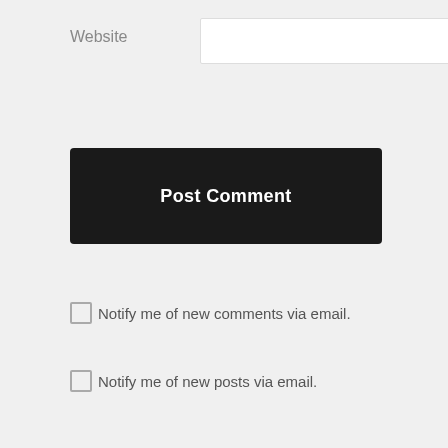Website
Post Comment
Notify me of new comments via email.
Notify me of new posts via email.
GET YOUR COPY OF PORTALS.
[Figure (photo): Book cover for 'portals' by Lana Grace Riva — dark cover with an open door revealing a bright green forest beyond]